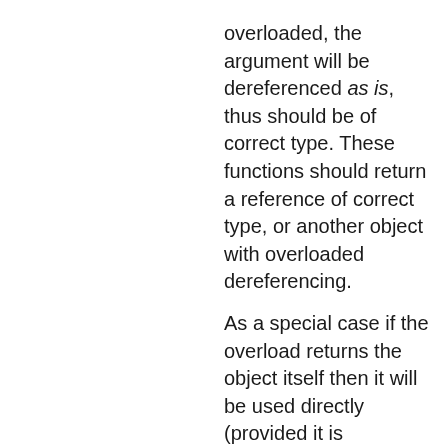overloaded, the argument will be dereferenced as is, thus should be of correct type. These functions should return a reference of correct type, or another object with overloaded dereferencing.

As a special case if the overload returns the object itself then it will be used directly (provided it is